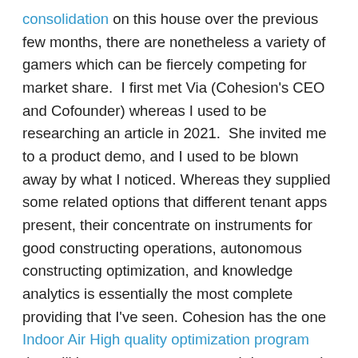consolidation on this house over the previous few months, there are nonetheless a variety of gamers which can be fiercely competing for market share.  I first met Via (Cohesion's CEO and Cofounder) whereas I used to be researching an article in 2021.  She invited me to a product demo, and I used to be blown away by what I noticed. Whereas they supplied some related options that different tenant apps present, their concentrate on instruments for good constructing operations, autonomous constructing optimization, and knowledge analytics is essentially the most complete providing that I've seen. Cohesion has the one Indoor Air High quality optimization program that will increase contemporary air into areas by commanding the BAS when elevated pollution are detected, offering for a wholesome constructing expertise. As well as, they launched an ESG constructing stage report final 12 months that takes knowledge from a number of sources and provides